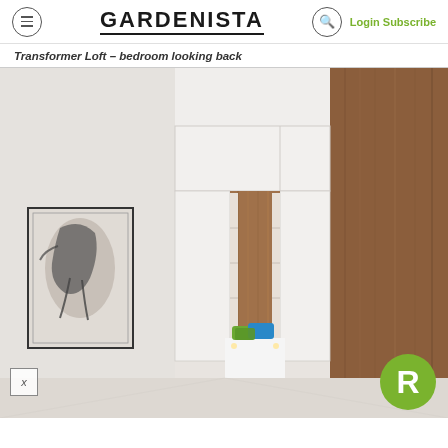GARDENISTA | Login Subscribe
Transformer Loft – bedroom looking back
[Figure (photo): Interior photo of a transformer loft bedroom looking back, showing a built-in Murphy bed with walnut wood paneling set within white cabinetry, colorful blue and green pillows on the bed, a framed artwork on the left wall, and a large walnut wood wardrobe panel on the right. An 'R' badge overlays the bottom right and an 'x' close button is at the bottom left.]